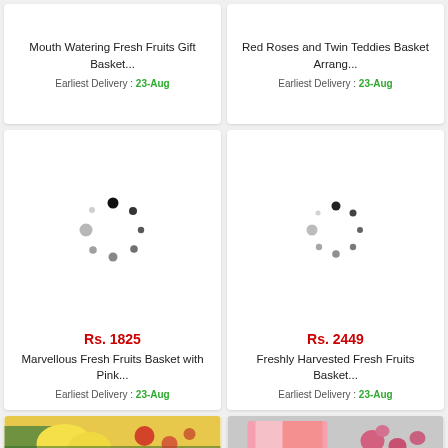Mouth Watering Fresh Fruits Gift Basket...
Earliest Delivery : 23-Aug
Red Roses and Twin Teddies Basket Arrang...
Earliest Delivery : 23-Aug
Rs. 1825
Marvellous Fresh Fruits Basket with Pink...
Earliest Delivery : 23-Aug
Rs. 2449
Freshly Harvested Fresh Fruits Basket...
Earliest Delivery : 23-Aug
[Figure (photo): Product image partial view bottom left]
[Figure (photo): Product image partial view bottom right]